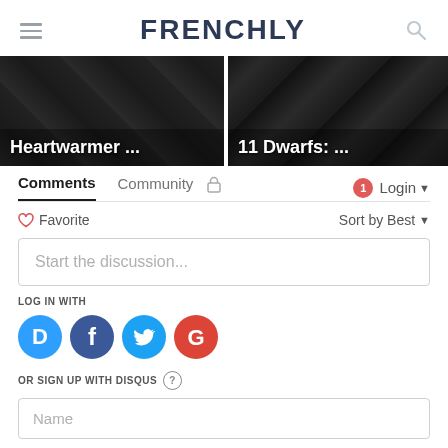FRENCHLY
[Figure (screenshot): Two article card thumbnails partially visible: 'Heartwarmer ...' and '11 Dwarfs: ...' with dark overlay backgrounds]
Comments  Community  🔒  1  Login
♡ Favorite    Sort by Best
Start the discussion...
LOG IN WITH
[Figure (infographic): Four social login buttons: Disqus (blue circle D), Facebook (dark blue circle f), Twitter (light blue circle bird), Google (red circle G)]
OR SIGN UP WITH DISQUS ?
Name